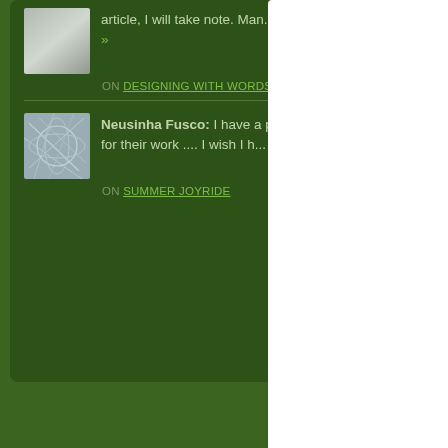article, I will take note. Man... more »
ON DESIGNING WITH WORDS
Neusinha Fusco: I have a passion for their work .... I wish I h... | more »
ON SUMMER JOYRIDE
Sep 6, 2009 11:26:5
Com
clash of th